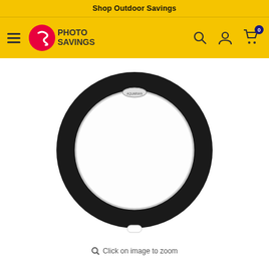Shop Outdoor Savings
[Figure (logo): Photo Savings logo with navigation bar including hamburger menu, search, account, and cart icons]
[Figure (photo): A circular drum head with a wide black ring border and clear/white translucent center, with a small oval logo badge at the top and a small notch at the bottom]
Click on image to zoom